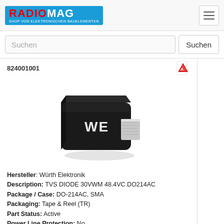RADIOMAG - SHOP VON ELEKTRONISCHEN BAUELEMENTEN
Suchen
824001001
[Figure (photo): Photo of a Würth Elektronik TVS diode in DO-214AC/SMA package, black body with 'WE' logo on top, silver lead on one side]
Hersteller: Würth Elektronik
Description: TVS DIODE 30VWM 48.4VC DO214AC
Package / Case: DO-214AC, SMA
Packaging: Tape & Reel (TR)
Part Status: Active
Power Line Protection: No
Power - Peak Pulse: 400W
Voltage - Clamping (Max) @ Ipp: 48.4V